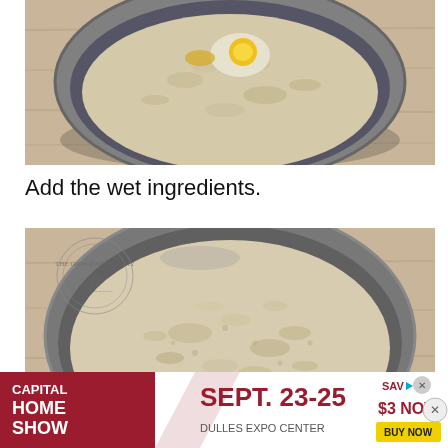[Figure (photo): Top-down view of a metal mixing bowl containing dry oatmeal-like ingredients with a raw egg cracked in the center, on a wooden cutting board background]
Add the wet ingredients.
[Figure (photo): Top-down view of a metal mixing bowl containing a pale beige batter mixture (wet and dry ingredients combined), on a wooden cutting board background. A watermark logo for 'The Gracious Pantry' is visible in the upper left.]
[Figure (infographic): Advertisement banner for Capital Home Show, Sept. 23-25, Dulles Expo Center, Save $3 Now, Buy Now]